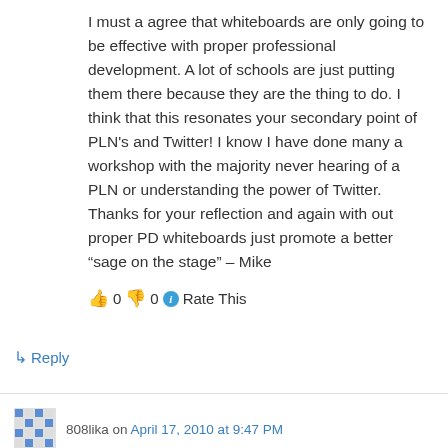I must a agree that whiteboards are only going to be effective with proper professional development. A lot of schools are just putting them there because they are the thing to do. I think that this resonates your secondary point of PLN's and Twitter! I know I have done many a workshop with the majority never hearing of a PLN or understanding the power of Twitter. Thanks for your reflection and again with out proper PD whiteboards just promote a better “sage on the stage” – Mike
👍 0 👎 0 ℹ Rate This
↳ Reply
808lika on April 17, 2010 at 9:47 PM